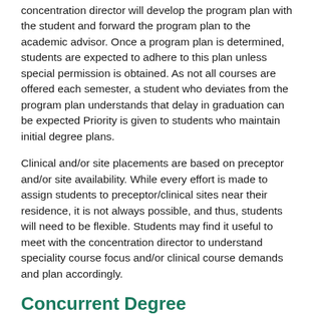concentration director will develop the program plan with the student and forward the program plan to the academic advisor. Once a program plan is determined, students are expected to adhere to this plan unless special permission is obtained. As not all courses are offered each semester, a student who deviates from the program plan understands that delay in graduation can be expected Priority is given to students who maintain initial degree plans.
Clinical and/or site placements are based on preceptor and/or site availability. While every effort is made to assign students to preceptor/clinical sites near their residence, it is not always possible, and thus, students will need to be flexible. Students may find it useful to meet with the concentration director to understand speciality course focus and/or clinical course demands and plan accordingly.
Concurrent Degree